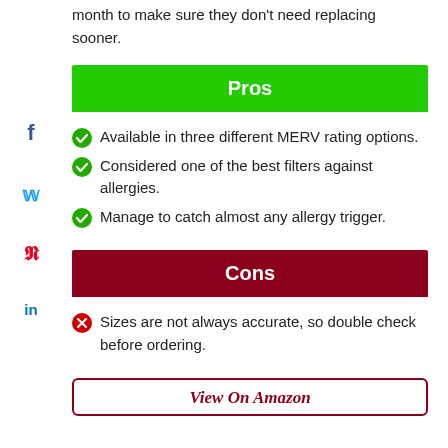month to make sure they don't need replacing sooner.
Pros
Available in three different MERV rating options.
Considered one of the best filters against allergies.
Manage to catch almost any allergy trigger.
Cons
Sizes are not always accurate, so double check before ordering.
View On Amazon